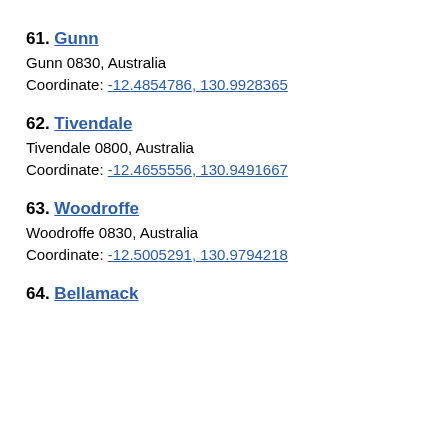61. Gunn
Gunn 0830, Australia
Coordinate: -12.4854786, 130.9928365
62. Tivendale
Tivendale 0800, Australia
Coordinate: -12.4655556, 130.9491667
63. Woodroffe
Woodroffe 0830, Australia
Coordinate: -12.5005291, 130.9794218
64. Bellamack